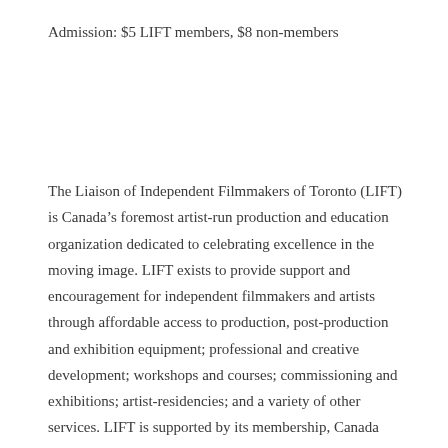Admission: $5 LIFT members, $8 non-members
The Liaison of Independent Filmmakers of Toronto (LIFT) is Canada’s foremost artist-run production and education organization dedicated to celebrating excellence in the moving image. LIFT exists to provide support and encouragement for independent filmmakers and artists through affordable access to production, post-production and exhibition equipment; professional and creative development; workshops and courses; commissioning and exhibitions; artist-residencies; and a variety of other services. LIFT is supported by its membership, Canada Council for the Arts, Ontario Arts Council, Ontario Trillium Foundation, Ontario Arts Foundation, the Government of Ontario and the Toronto Arts Council.